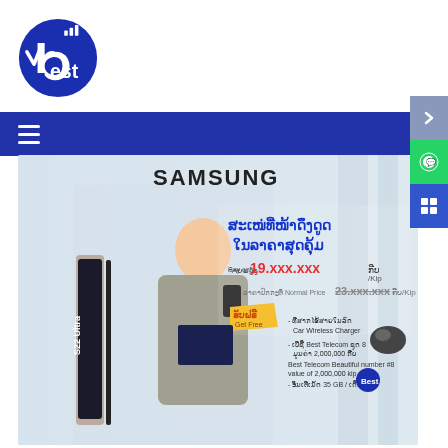[Figure (logo): Best Telecom circular logo with white 'best' text and signal icon on dark blue background]
Navigation bar with hamburger menu
Tag: BestMoblie
[Figure (photo): Samsung S22 Ultra promotional advertisement in Lao language. Shows a businesswoman holding a phone, Samsung S22 Ultra device, price 19.xxx.xxx kip (pay only), normal price 23.xxx.xxx kip, Get Free gifts including Car Wireless Charger, Best Telecom Beautiful number #8 value 2,000,000 kip, 35GB/month data]